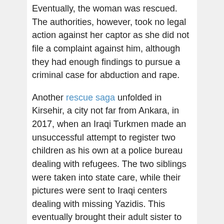Eventually, the woman was rescued. The authorities, however, took no legal action against her captor as she did not file a complaint against him, although they had enough findings to pursue a criminal case for abduction and rape.
Another rescue saga unfolded in Kirsehir, a city not far from Ankara, in 2017, when an Iraqi Turkmen made an unsuccessful attempt to register two children as his own at a police bureau dealing with refugees. The two siblings were taken into state care, while their pictures were sent to Iraqi centers dealing with missing Yazidis. This eventually brought their adult sister to Kirsehir — a woman who herself had been an IS captive before relatives bailed her out. Her parents, husband, son and a sibling were also missing. The woman faced legal barriers in claiming her siblings in Kirsehir, including having to provide DNA tests and proof that their parents were dead. Ultimately, the two children, ages 9 and 11, were handed over to Iraqi Kurdistan President Nechirvan Barzani when he visited Ankara in September.